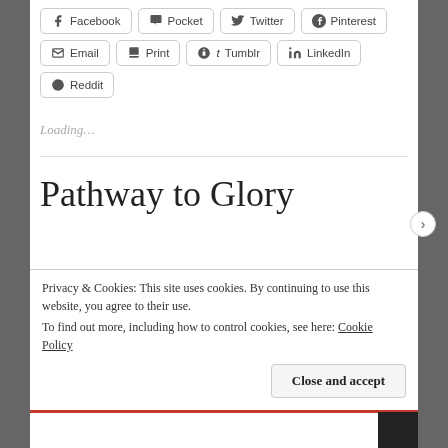[Figure (screenshot): Social share buttons row 1: Facebook, Pocket, Twitter, Pinterest]
[Figure (screenshot): Social share buttons row 2: Email, Print, Tumblr, LinkedIn]
[Figure (screenshot): Social share button row 3: Reddit]
Loading…
Pathway to Glory
Privacy & Cookies: This site uses cookies. By continuing to use this website, you agree to their use.
To find out more, including how to control cookies, see here: Cookie Policy
Close and accept